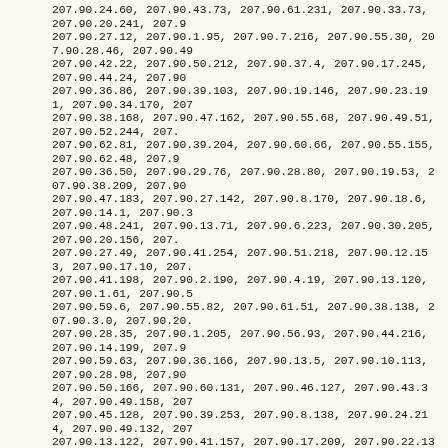207.90.24.60, 207.90.43.73, 207.90.61.231, 207.90.33.73, 207.90.20.241, 207.90.27.12, 207.90.1.95, 207.90.7.216, 207.90.55.30, 207.90.28.46, 207.90.49, 207.90.42.22, 207.90.50.212, 207.90.37.4, 207.90.17.245, 207.90.44.24, 207.90, 207.90.36.86, 207.90.39.103, 207.90.19.146, 207.90.23.191, 207.90.34.170, 207, 207.90.38.168, 207.90.47.162, 207.90.55.68, 207.90.49.51, 207.90.52.244, 207., 207.90.62.81, 207.90.39.204, 207.90.60.66, 207.90.55.155, 207.90.62.48, 207.9, 207.90.36.50, 207.90.29.76, 207.90.28.80, 207.90.19.53, 207.90.38.209, 207.90, 207.90.47.183, 207.90.27.142, 207.90.8.170, 207.90.18.6, 207.90.14.1, 207.90.3, 207.90.48.241, 207.90.13.71, 207.90.6.223, 207.90.30.205, 207.90.20.156, 207., 207.90.27.49, 207.90.41.254, 207.90.51.218, 207.90.12.153, 207.90.17.10, 207., 207.90.41.198, 207.90.2.190, 207.90.4.19, 207.90.13.120, 207.90.1.61, 207.90.5, 207.90.59.6, 207.90.55.82, 207.90.61.51, 207.90.38.138, 207.90.3.0, 207.90.20., 207.90.28.35, 207.90.1.205, 207.90.56.93, 207.90.44.216, 207.90.14.199, 207.9, 207.90.59.63, 207.90.36.166, 207.90.13.5, 207.90.10.113, 207.90.28.98, 207.90, 207.90.50.166, 207.90.60.131, 207.90.46.127, 207.90.43.34, 207.90.49.158, 207, 207.90.45.128, 207.90.39.253, 207.90.8.138, 207.90.24.214, 207.90.49.132, 207, 207.90.13.122, 207.90.41.157, 207.90.17.209, 207.90.22.135, 207.90.24.195, 20, 207.90.11.139, 207.90.33.21, 207.90.28.148, 207.90.16.142, 207.90.55.243, 207, 207.90.39.250, 207.90.10.31, 207.90.35.245, 207.90.56.85, 207.90.58.70, 207.9, 207.90.38.106, 207.90.18.238, 207.90.50.112, 207.90.53.246, 207.90.60.43, 207, 207.90.16.230, 207.90.34.26, 207.90.30.131, 207.90.16.132, 207.90.16.118, 207, 207.90.62.75, 207.90.36.62, 207.90.45.51, 207.90.21.42, 207.90.40.242, 207.90, 207.90.62.72, 207.90.16.117, 207.90.7.140, 207.90.17.73, 207.90.18.179, 207.9, 207.90.2.194, 207.90.29.131, 207.90.16.226, 207.90.50.186, 207.90.4.177, 207., 207.90.36.241, 207.90.21.138, 207.90.36.68, 207.90.32.23, 207.90.18.13, 207.9, 207.90.10.175, 207.90.22.146, 207.90.54.149, 207.90.13.226, 207.90.43.225, 20, 207.90.45.169, 207.90.20.48, 207.90.42.39, 207.90.42.155, 207.90.13.115, 207., 207.90.16.138, 207.90.27.115, 207.90.21.190, 207.90.7.220, 207.90.40.168, 207, 207.90.1.192, 207.90.36.228, 207.90.55.26, 207.90.53.42, 207.90.58.169, 207.9, 207.90.21.128, 207.90.16.44, 207.90.38.88, 207.90.51.116, 207.90.52.96, 207.9, 207.90.40.165, 207.90.55.81, 207.90.15.77, 207.90.19.41, 207.90.3.41, 207.90.9, 207.90.37.66, 207.90.46.14, 207.90.12.138, 207.90.46.95, 207.90.23.249, 207.9, 207.90.25.25, 207.90.6.122, 207.90.25.62, 207.90.29.127, 207.90.61.100, 207.